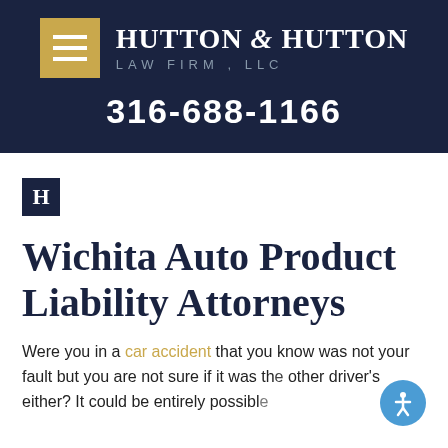HUTTON & HUTTON LAW FIRM, LLC | 316-688-1166
[Figure (logo): Hutton & Hutton Law Firm, LLC logo with gold menu icon and white text on dark navy background, phone number 316-688-1166]
[Figure (logo): Black square H icon representing Hutton & Hutton]
Wichita Auto Product Liability Attorneys
Were you in a car accident that you know was not your fault but you are not sure if it was the other driver's either? It could be entirely possible